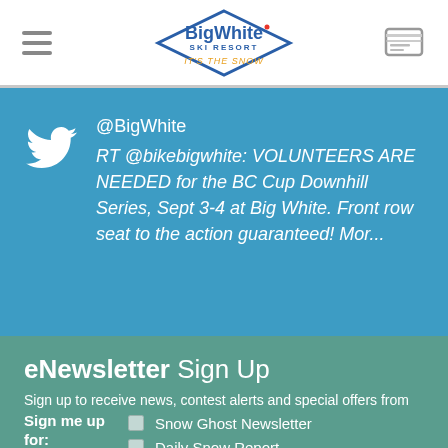Big White Ski Resort - IT'S THE SNOW
@BigWhite
RT @bikebigwhite: VOLUNTEERS ARE NEEDED for the BC Cup Downhill Series, Sept 3-4 at Big White. Front row seat to the action guaranteed! Mor...
eNewsletter Sign Up
Sign up to receive news, contest alerts and special offers from Big White Ski Resort.
Sign me up for: Snow Ghost Newsletter, Daily Snow Report